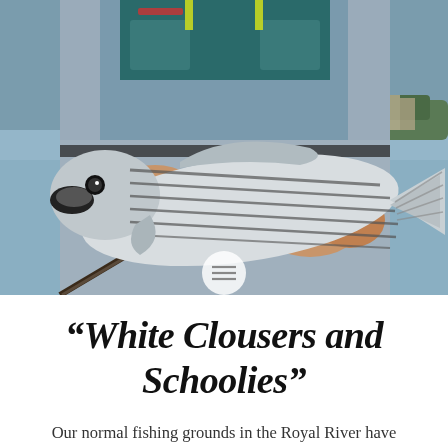[Figure (photo): A person wearing grey waders and a fishing vest holding a striped bass (striper) horizontally with both hands. The fish is silver with dark horizontal stripes. Background shows a calm body of water with trees in the distance. A fishing rod is visible at the bottom left.]
“White Clousers and Schoolies”
Our normal fishing grounds in the Royal River have